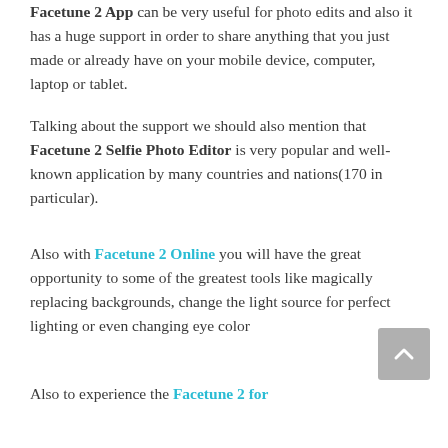Facetune 2 App can be very useful for photo edits and also it has a huge support in order to share anything that you just made or already have on your mobile device, computer, laptop or tablet.
Talking about the support we should also mention that Facetune 2 Selfie Photo Editor is very popular and well-known application by many countries and nations(170 in particular).
Also with Facetune 2 Online you will have the great opportunity to some of the greatest tools like magically replacing backgrounds, change the light source for perfect lighting or even changing eye color
Also to experience the Facetune 2 for...